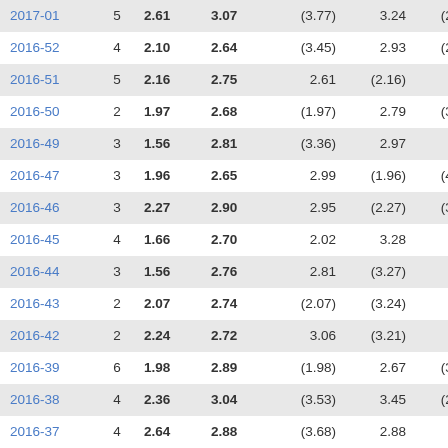| 2017-01 | 5 | 2.61 | 3.07 | (3.77) | 3.24 | (2.61) |
| 2016-52 | 4 | 2.10 | 2.64 | (3.45) | 2.93 | (2.10) |
| 2016-51 | 5 | 2.16 | 2.75 | 2.61 | (2.16) | 3.26 |
| 2016-50 | 2 | 1.97 | 2.68 | (1.97) | 2.79 | (3.20) |
| 2016-49 | 3 | 1.56 | 2.81 | (3.36) | 2.97 | 3.05 |
| 2016-47 | 3 | 1.96 | 2.65 | 2.99 | (1.96) | (4.42) |
| 2016-46 | 3 | 2.27 | 2.90 | 2.95 | (2.27) | (3.90) |
| 2016-45 | 4 | 1.66 | 2.70 | 2.02 | 3.28 | 2.79 |
| 2016-44 | 3 | 1.56 | 2.76 | 2.81 | (3.27) | 3.26 |
| 2016-43 | 2 | 2.07 | 2.74 | (2.07) | (3.24) | 2.66 |
| 2016-42 | 2 | 2.24 | 2.72 | 3.06 | (3.21) | 2.45 |
| 2016-39 | 6 | 1.98 | 2.89 | (1.98) | 2.67 | (3.30) |
| 2016-38 | 4 | 2.36 | 3.04 | (3.53) | 3.45 | (2.36) |
| 2016-37 | 4 | 2.64 | 2.88 | (3.68) | 2.88 | 2.70 |
| 2016-36 | 6 | 2.39 | 2.86 | 3.27 | 2.78 | (3.42) |
| 2016-35 | 7 | 2.75 | 3.12 | 3.17 | 2.88 | 3.32 |